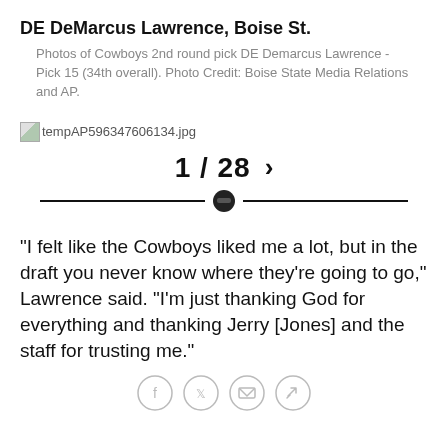DE DeMarcus Lawrence, Boise St.
Photos of Cowboys 2nd round pick DE Demarcus Lawrence - Pick 15 (34th overall). Photo Credit: Boise State Media Relations and AP.
[Figure (photo): Broken image placeholder showing filename tempAP596347606134.jpg with navigation showing 1/28 and a right chevron, and a horizontal divider with a circle icon]
"I felt like the Cowboys liked me a lot, but in the draft you never know where they're going to go," Lawrence said. "I'm just thanking God for everything and thanking Jerry [Jones] and the staff for trusting me."
[Figure (other): Social sharing buttons: Facebook, Twitter, Email, Link]